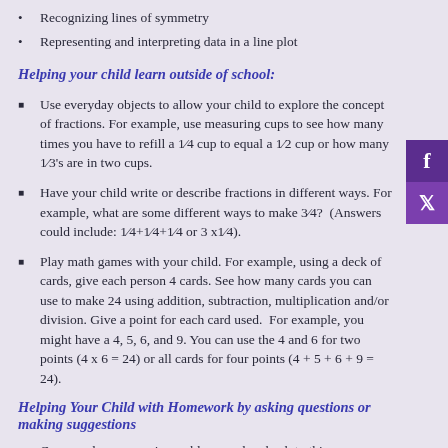Recognizing lines of symmetry
Representing and interpreting data in a line plot
Helping your child learn outside of school:
Use everyday objects to allow your child to explore the concept of fractions. For example, use measuring cups to see how many times you have to refill a 1⁄4 cup to equal a 1⁄2 cup or how many 1⁄3's are in two cups.
Have your child write or describe fractions in different ways. For example, what are some different ways to make 3⁄4?  (Answers could include: 1⁄4+1⁄4+1⁄4 or 3 x1⁄4).
Play math games with your child. For example, using a deck of cards, give each person 4 cards. See how many cards you can use to make 24 using addition, subtraction, multiplication and/or division. Give a point for each card used.  For example, you might have a 4, 5, 6, and 9. You can use the 4 and 6 for two points (4 x 6 = 24) or all cards for four points (4 + 5 + 6 + 9 = 24).
Helping Your Child with Homework by asking questions or making suggestions
Can you do some easier problems and go back to this one